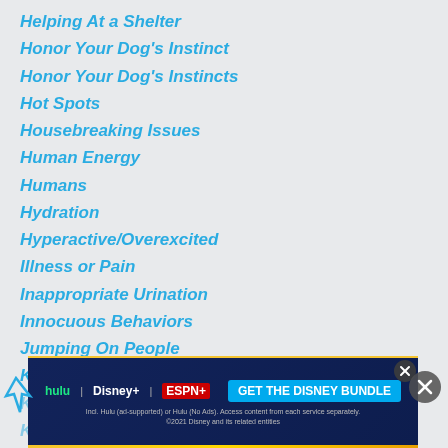Helping At a Shelter
Honor Your Dog's Instinct
Honor Your Dog's Instincts
Hot Spots
Housebreaking Issues
Human Energy
Humans
Hydration
Hyperactive/Overexcited
Illness or Pain
Inappropriate Urination
Innocuous Behaviors
Jumping On People
Know the Difference Between Story and Truth
Know Your Dog's Natural Pack Position
Kome…
[Figure (screenshot): Disney bundle advertisement banner with Hulu, Disney+, and ESPN+ logos and GET THE DISNEY BUNDLE call to action button]